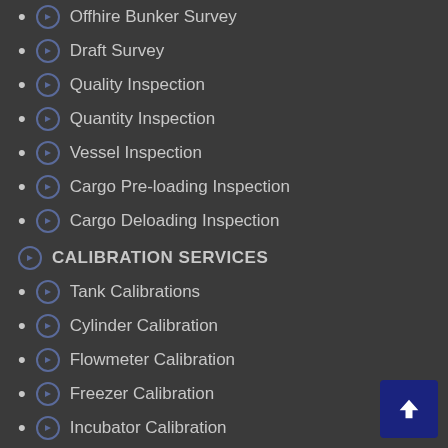Offhire Bunker Survey
Draft Survey
Quality Inspection
Quantity Inspection
Vessel Inspection
Cargo Pre-loading Inspection
Cargo Deloading Inspection
CALIBRATION SERVICES
Tank Calibrations
Cylinder Calibration
Flowmeter Calibration
Freezer Calibration
Incubator Calibration
Kitchen Items Calibration
Cooker Calibration